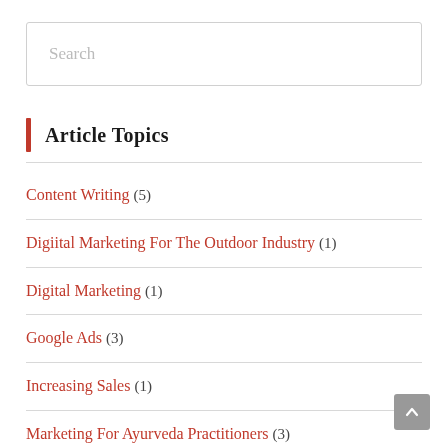Search
Article Topics
Content Writing (5)
Digiital Marketing For The Outdoor Industry (1)
Digital Marketing (1)
Google Ads (3)
Increasing Sales (1)
Marketing For Ayurveda Practitioners (3)
Marketing for Physical Therapy Clinics (1)